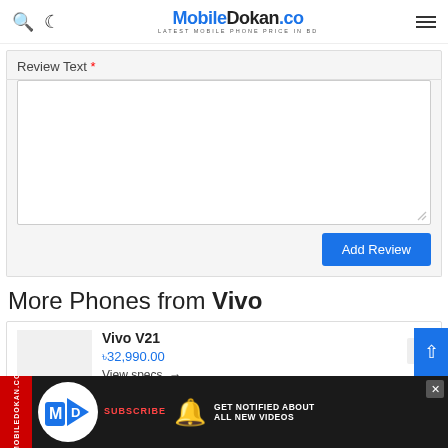MobileDokan.co — LATEST MOBILE PHONE PRICE IN BD
Review Text *
[Figure (screenshot): Empty review text textarea input box]
Add Review
More Phones from Vivo
Vivo V21
৳32,990.00
View specs →
[Figure (screenshot): MobileDokan.co advertisement banner with subscribe button and get notified about all new videos text]